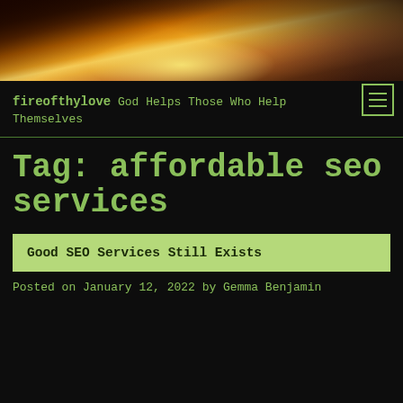[Figure (photo): Website header banner image showing silhouetted hands raised against an orange and golden sunset sky]
[Figure (other): Hamburger menu button with three horizontal lines, green border, dark background]
fireofthylove God Helps Those Who Help Themselves
Tag: affordable seo services
Good SEO Services Still Exists
Posted on January 12, 2022 by Gemma Benjamin